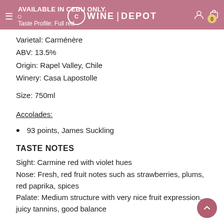AVAILABLE IN CEBU ONLY. | WINE DEPOT | Taste Profile: Full red
Varietal: Carménère
ABV: 13.5%
Origin: Rapel Valley, Chile
Winery: Casa Lapostolle
Size: 750ml
Accolades:
93 points, James Suckling
TASTE NOTES
Sight: Carmine red with violet hues
Nose: Fresh, red fruit notes such as strawberries, plums, red paprika, spices
Palate: Medium structure with very nice fruit expression, juicy tannins, good balance